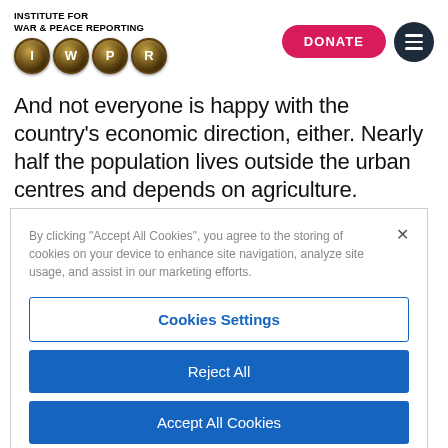INSTITUTE FOR WAR & PEACE REPORTING | IWPR
And not everyone is happy with the country's economic direction, either. Nearly half the population lives outside the urban centres and depends on agriculture. Nationwide, unemployment remains high.
By clicking "Accept All Cookies", you agree to the storing of cookies on your device to enhance site navigation, analyze site usage, and assist in our marketing efforts.
Cookies Settings
Reject All
Accept All Cookies